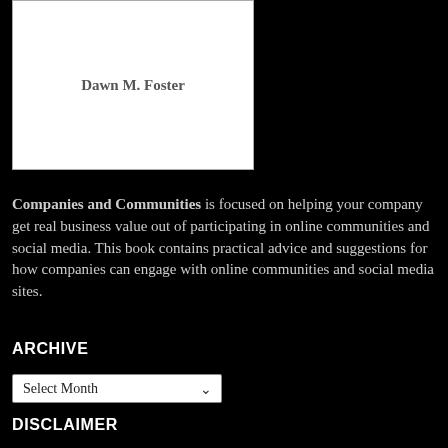[Figure (other): Book cover placeholder box showing the text 'Dawn M. Foster']
Companies and Communities is focused on helping your company get real business value out of participating in online communities and social media. This book contains practical advice and suggestions for how companies can engage with online communities and social media sites.
ARCHIVE
Select Month
DISCLAIMER
The opinions expressed in this blog are mine alone and do not reflect those of my employer.